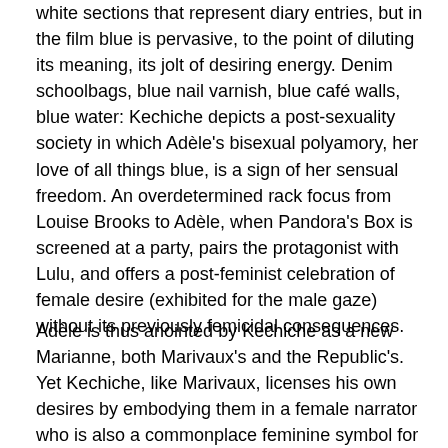white sections that represent diary entries, but in the film blue is pervasive, to the point of diluting its meaning, its jolt of desiring energy. Denim schoolbags, blue nail varnish, blue café walls, blue water: Kechiche depicts a post-sexuality society in which Adèle's bisexual polyamory, her love of all things blue, is a sign of her sensual freedom. An overdetermined rack focus from Louise Brooks to Adèle, when Pandora's Box is screened at a party, pairs the protagonist with Lulu, and offers a post-feminist celebration of female desire (exhibited for the male gaze) without its previously femicidal consequences.
Adèle is thus anointed by Kechiche as a new Marianne, both Marivaux's and the Republic's. Yet Kechiche, like Marivaux, licenses his own desires by embodying them in a female narrator who is also a commonplace feminine symbol for a liberty that offers little actual freedom for women. His familiar masculine